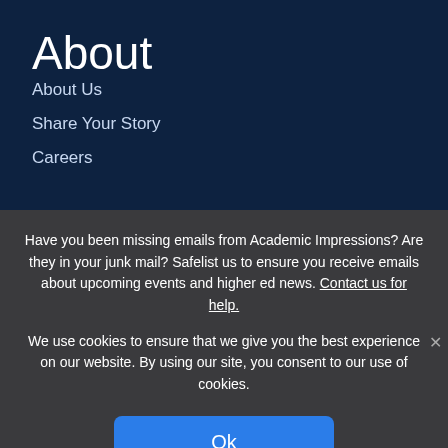About
About Us
Share Your Story
Careers
Have you been missing emails from Academic Impressions? Are they in your junk mail? Safelist us to ensure you receive emails about upcoming events and higher ed news. Contact us for help.
We use cookies to ensure that we give you the best experience on our website. By using our site, you consent to our use of cookies.
Ok